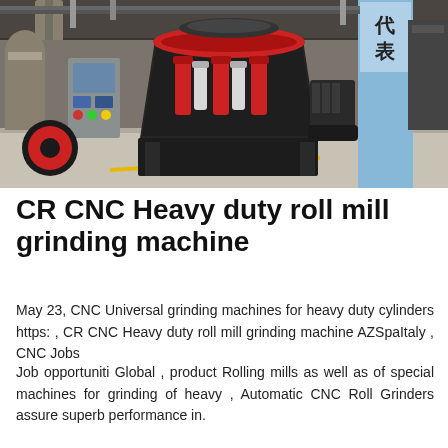[Figure (photo): Industrial factory floor showing a large cone crusher/grinding machine in dark grey with red accents and cylinders, a control panel on the left, a large red wheel, a blue pillar with Chinese characters on the right, and other heavy machinery in the background.]
CR CNC Heavy duty roll mill grinding machine
May 23, CNC Universal grinding machines for heavy duty cylinders https: , CR CNC Heavy duty roll mill grinding machine AZSpaItaly , CNC Jobs
Job opportuniti Global , product Rolling mills as well as of special machines for grinding of heavy , Automatic CNC Roll Grinders assure superb performance in.